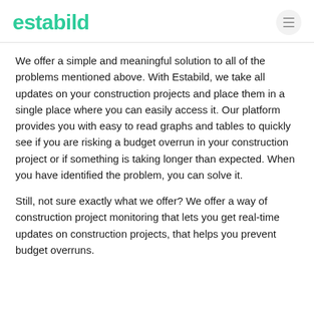estabild
We offer a simple and meaningful solution to all of the problems mentioned above. With Estabild, we take all updates on your construction projects and place them in a single place where you can easily access it. Our platform provides you with easy to read graphs and tables to quickly see if you are risking a budget overrun in your construction project or if something is taking longer than expected. When you have identified the problem, you can solve it.
Still, not sure exactly what we offer? We offer a way of construction project monitoring that lets you get real-time updates on construction projects, that helps you prevent budget overruns.